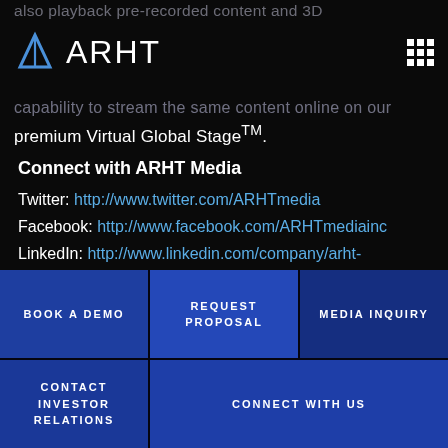also playback pre-recorded content and 3D
[Figure (logo): ARHT Media logo — blue triangle icon with text ARHT]
capability to stream the same content online on our premium Virtual Global Stage™.
Connect with ARHT Media
Twitter: http://www.twitter.com/ARHTmedia
Facebook: http://www.facebook.com/ARHTmediainc
LinkedIn: http://www.linkedin.com/company/arht-media-inc-
For more information, please visit
BOOK A DEMO
REQUEST PROPOSAL
MEDIA INQUIRY
CONTACT INVESTOR RELATIONS
CONNECT WITH US